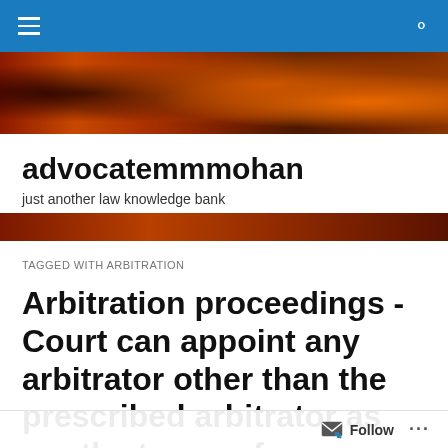[Figure (screenshot): Blue navigation bar with hamburger menu icon on left and search icon on right]
[Figure (photo): Decorative banner image with orange and dark red tones, appears to be an animal or abstract image]
advocatemmmohan
just another law knowledge bank
[Figure (photo): Lower portion of banner image with orange and dark tones]
TAGGED WITH ARBITRATION
Arbitration proceedings -Court can appoint any arbitrator other than the prescribed arbitrator as per the terms of agreement – disputes between contractors and Railwa
Follow